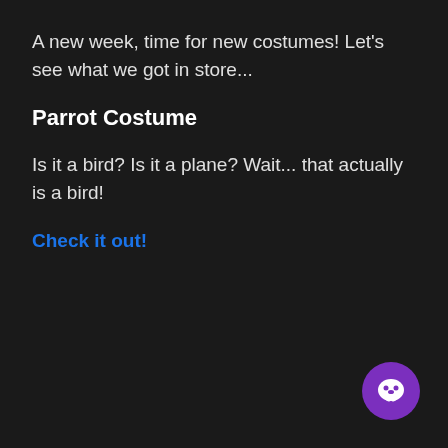A new week, time for new costumes! Let's see what we got in store...
Parrot Costume
Is it a bird? Is it a plane? Wait... that actually is a bird!
Check it out!
[Figure (illustration): Purple circular chat/messaging button icon with a speech bubble containing a parrot or bird icon, positioned in the bottom-right corner]